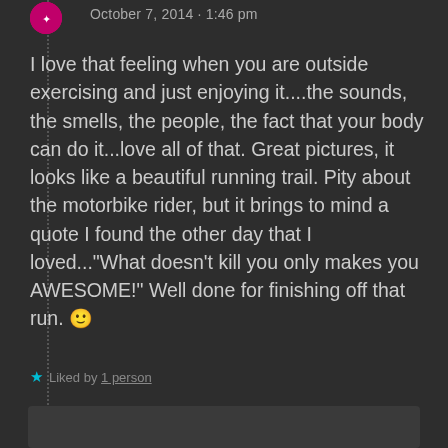October 7, 2014 · 1:46 pm
I love that feeling when you are outside exercising and just enjoying it....the sounds, the smells, the people, the fact that your body can do it...love all of that. Great pictures, it looks like a beautiful running trail. Pity about the motorbike rider, but it brings to mind a quote I found the other day that I loved..."What doesn't kill you only makes you AWESOME!" Well done for finishing off that run. 🙂
★ Liked by 1 person